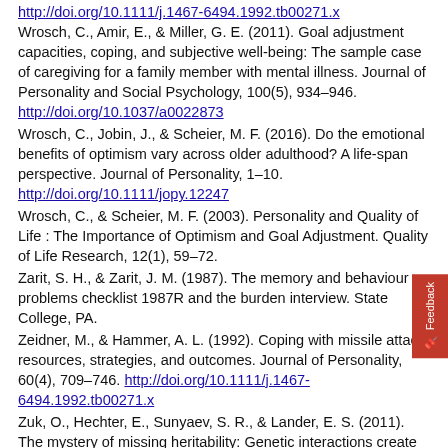http://doi.org/10.1111/j.1467-6494.1992.tb00271.x [partial top URL]
Wrosch, C., Amir, E., & Miller, G. E. (2011). Goal adjustment capacities, coping, and subjective well-being: The sample case of caregiving for a family member with mental illness. Journal of Personality and Social Psychology, 100(5), 934–946. http://doi.org/10.1037/a0022873
Wrosch, C., Jobin, J., & Scheier, M. F. (2016). Do the emotional benefits of optimism vary across older adulthood? A life-span perspective. Journal of Personality, 1–10. http://doi.org/10.1111/jopy.12247
Wrosch, C., & Scheier, M. F. (2003). Personality and Quality of Life : The Importance of Optimism and Goal Adjustment. Quality of Life Research, 12(1), 59–72.
Zarit, S. H., & Zarit, J. M. (1987). The memory and behaviour problems checklist 1987R and the burden interview. State College, PA.
Zeidner, M., & Hammer, A. L. (1992). Coping with missile attack: resources, strategies, and outcomes. Journal of Personality, 60(4), 709–746. http://doi.org/10.1111/j.1467-6494.1992.tb00271.x
Zuk, O., Hechter, E., Sunyaev, S. R., & Lander, E. S. (2011). The mystery of missing heritability: Genetic interactions create